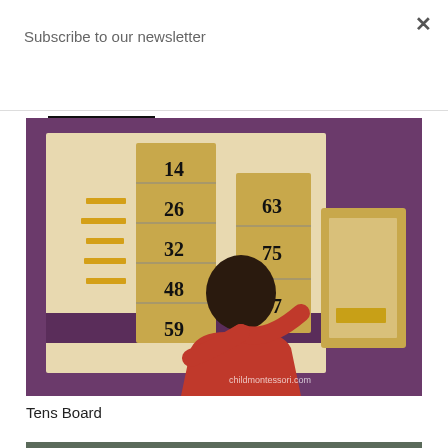Subscribe to our newsletter
Subscribe
[Figure (photo): A child in a red shirt working with Montessori Tens Board materials on a purple mat, with numbered wooden tiles and golden bead bars. Watermark reads 'childmontessori.com']
Tens Board
[Figure (photo): Partial view of another Montessori activity (bottom of page, cropped)]